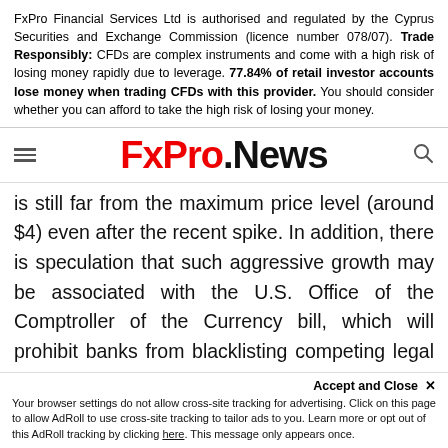FxPro Financial Services Ltd is authorised and regulated by the Cyprus Securities and Exchange Commission (licence number 078/07). Trade Responsibly: CFDs are complex instruments and come with a high risk of losing money rapidly due to leverage. 77.84% of retail investor accounts lose money when trading CFDs with this provider. You should consider whether you can afford to take the high risk of losing your money.
[Figure (logo): FxPro.News logo with hamburger menu icon on the left and search icon on the right]
is still far from the maximum price level (around $4) even after the recent spike. In addition, there is speculation that such aggressive growth may be associated with the U.S. Office of the Comptroller of the Currency bill, which will prohibit banks from blacklisting competing legal industries, which could include Ripple business. This aims to accelerate and reduce the cost of bank money transfers while having all the necessary licenses.
Accept and Close ✕ Your browser settings do not allow cross-site tracking for advertising. Click on this page to allow AdRoll to use cross-site tracking to tailor ads to you. Learn more or opt out of this AdRoll tracking by clicking here. This message only appears once.